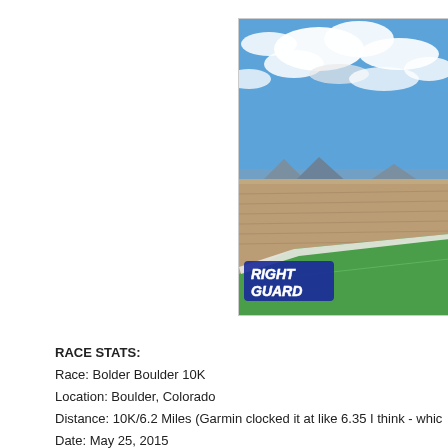[Figure (photo): Aerial view of a packed stadium with a green field in the center, blue sky with clouds above, and a 'RIGHT GUARD' logo overlaid in the lower left of the image.]
RACE STATS:
Race: Bolder Boulder 10K
Location: Boulder, Colorado
Distance: 10K/6.2 Miles (Garmin clocked it at like 6.35 I think - whic
Date: May 25, 2015
Bib Number: BB218